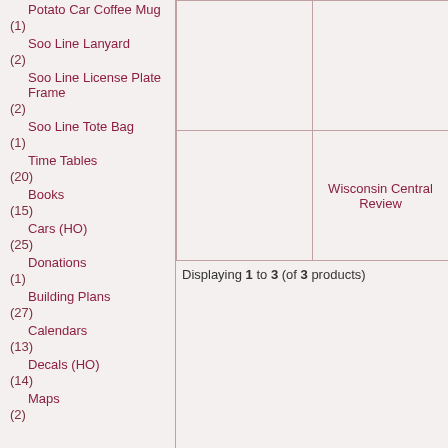Potato Car Coffee Mug
(1)
Soo Line Lanyard
(2)
Soo Line License Plate Frame
(2)
Soo Line Tote Bag
(1)
Time Tables
(20)
Books
(15)
Cars (HO)
(25)
Donations
(1)
Building Plans
(27)
Calendars
(13)
Decals (HO)
(14)
Maps
[Figure (other): Product grid with 4 cells, one containing 'Wisconsin Central Review' text]
Displaying 1 to 3 (of 3 products)